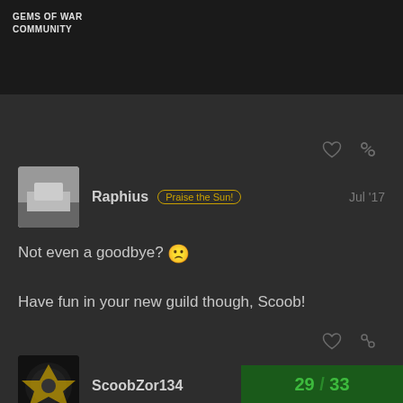GEMS OF WAR
COMMUNITY
Raphius Praise the Sun! Jul '17
Not even a goodbye? 🙁
Have fun in your new guild though, Scoob!
ScoobZor134 Jul '17
Not yet away so I'll give a shoutout soon
29 / 33